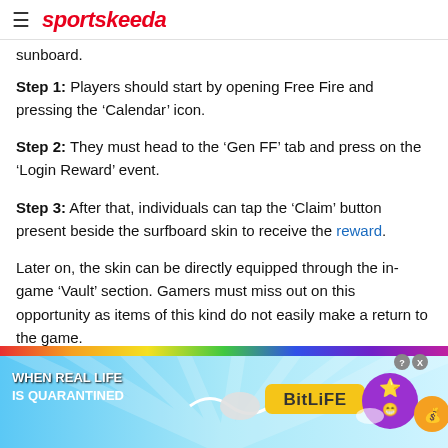≡ sportskeeda
sunboard.
Step 1: Players should start by opening Free Fire and pressing the 'Calendar' icon.
Step 2: They must head to the 'Gen FF' tab and press on the 'Login Reward' event.
Step 3: After that, individuals can tap the 'Claim' button present beside the surfboard skin to receive the reward.
Later on, the skin can be directly equipped through the in-game 'Vault' section. Gamers must miss out on this opportunity as items of this kind do not easily make a return to the game.
[Figure (infographic): Advertisement banner for BitLife mobile game with rainbow colored top strip, text 'WHEN REAL LIFE IS QUARANTINED', BitLife logo, and cartoon character icons with close buttons]